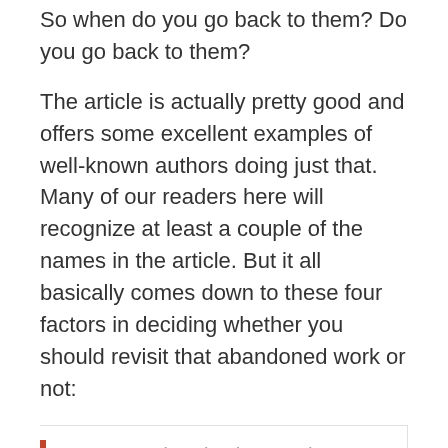So when do you go back to them? Do you go back to them?
The article is actually pretty good and offers some excellent examples of well-known authors doing just that. Many of our readers here will recognize at least a couple of the names in the article. But it all basically comes down to these four factors in deciding whether you should revisit that abandoned work or not:
You're inspired enough to return to them,